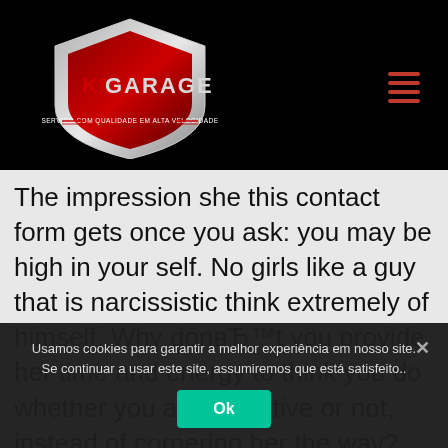[Figure (logo): KM Garage logo — a red and silver shield shape with 'KM GARAGE' text and tagline 'SERVIÇO COM QUALIDADE EM ALTA VELOCIDADE' on a black header bar]
The impression she this contact form gets once you ask: you may be high in your self. No girls like a guy that is narcissistic think extremely of himself. Why don't you provide her time and energy to think you do whether you are attractive or not, instead of cornering her the way? Quickly all of the Signs
Usamos cookies para garantir a melhor experiência em nosso site. Se continuar a usar este site, assumiremos que está satisfeito..
Ok